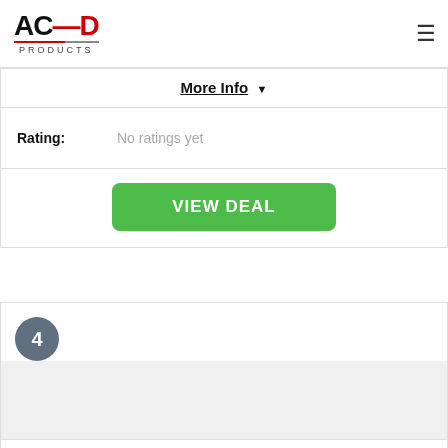ACED PRODUCTS
More Info ▼
Rating: No ratings yet
VIEW DEAL
4
3colors Chef Clothing Hotel Restaurant Chefs Work Clothes Short Sleeve Chef Jack (L, red)